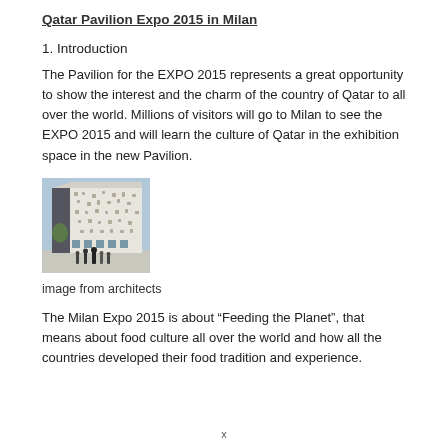Qatar Pavilion Expo 2015 in Milan
1. Introduction
The Pavilion for the EXPO 2015 represents a great opportunity to show the interest and the charm of the country of Qatar to all over the world. Millions of visitors will go to Milan to see the EXPO 2015 and will learn the culture of Qatar in the exhibition space in the new Pavilion.
[Figure (photo): Architectural rendering of the Qatar Pavilion for EXPO 2015 in Milan, showing a modern white building facade with decorative cutouts and people standing in front.]
image from architects
The Milan Expo 2015 is about “Feeding the Planet”, that means about food culture all over the world and how all the countries developed their food tradition and experience.
x